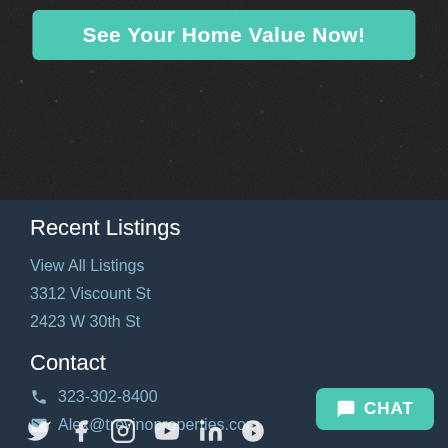[Figure (screenshot): Dark city aerial background image with a teal 'See Your Home Value Now!' button overlay at the top]
Recent Listings
View All Listings
3312 Viscount St
2423 W 30th St
Contact
323-302-8400
Alex@trevinoproperties.com
[Figure (other): Social media icons: Twitter, Facebook, Instagram, YouTube, LinkedIn, Yelp]
CHAT